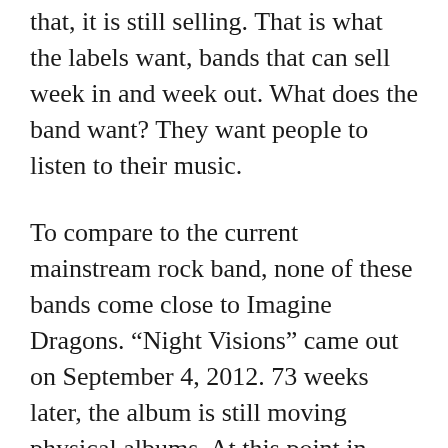that, it is still selling. That is what the labels want, bands that can sell week in and week out. What does the band want? They want people to listen to their music.
To compare to the current mainstream rock band, none of these bands come close to Imagine Dragons. “Night Visions” came out on September 4, 2012. 73 weeks later, the album is still moving physical albums. At this point in time the album has sold over 1.8 million copies in the US. The main songs are high on Spotify’s streaming chart. They are also very